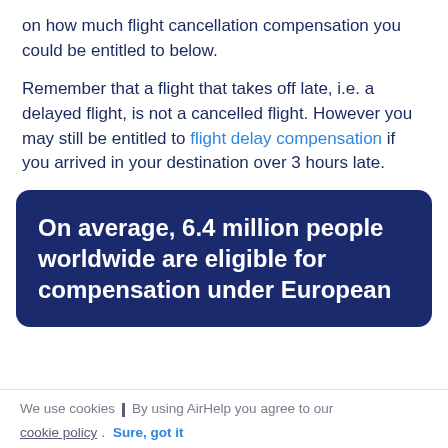on how much flight cancellation compensation you could be entitled to below.
Remember that a flight that takes off late, i.e. a delayed flight, is not a cancelled flight. However you may still be entitled to flight delay compensation if you arrived in your destination over 3 hours late.
On average, 6.4 million people worldwide are eligible for compensation under European
We use cookies | By using AirHelp you agree to our cookie policy. Sure, got it